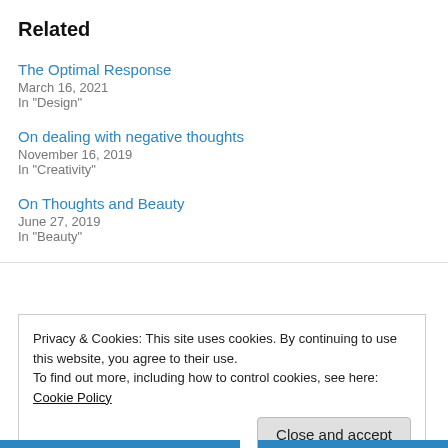Related
The Optimal Response
March 16, 2021
In "Design"
On dealing with negative thoughts
November 16, 2019
In "Creativity"
On Thoughts and Beauty
June 27, 2019
In "Beauty"
Privacy & Cookies: This site uses cookies. By continuing to use this website, you agree to their use.
To find out more, including how to control cookies, see here: Cookie Policy